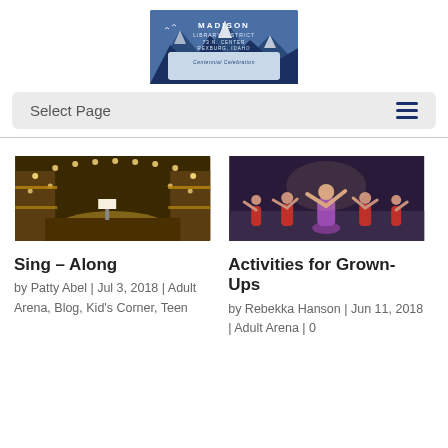[Figure (logo): Madison Library District logo with mountains, text: 73 N. Center, Rexburg, Idaho, Centennial Celebration]
Select Page
[Figure (photo): Interior of an ornate theater/opera house with golden lights]
[Figure (photo): Dancers performing on stage, woman in purple dress in center]
Sing – Along
by Patty Abel | Jul 3, 2018 | Adult Arena, Blog, Kid's Corner, Teen
Activities for Grown-Ups
by Rebekka Hanson | Jun 11, 2018 | Adult Arena | 0